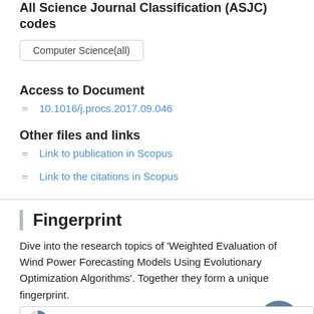All Science Journal Classification (ASJC) codes
Computer Science(all)
Access to Document
10.1016/j.procs.2017.09.046
Other files and links
Link to publication in Scopus
Link to the citations in Scopus
Fingerprint
Dive into the research topics of 'Weighted Evaluation of Wind Power Forecasting Models Using Evolutionary Optimization Algorithms'. Together they form a unique fingerprint.
Wind power